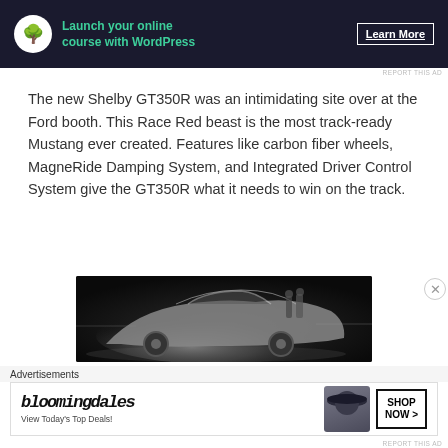[Figure (other): Advertisement banner: dark navy background with bonsai tree icon, teal text 'Launch your online course with WordPress', and 'Learn More' button]
The new Shelby GT350R was an intimidating site over at the Ford booth. This Race Red beast is the most track-ready Mustang ever created. Features like carbon fiber wheels, MagneRide Damping System, and Integrated Driver Control System give the GT350R what it needs to win on the track.
[Figure (photo): Dark photo of a silver sports car on a dark stage with people standing in the background]
Advertisements
[Figure (other): Bloomingdale's advertisement: 'View Today's Top Deals!' with woman in wide-brim hat and 'SHOP NOW >' button]